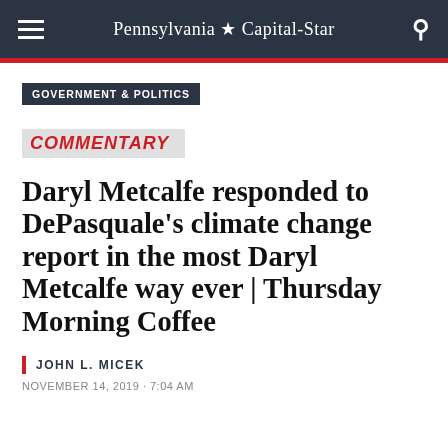Pennsylvania ★ Capital-Star
GOVERNMENT & POLITICS
COMMENTARY
Daryl Metcalfe responded to DePasquale's climate change report in the most Daryl Metcalfe way ever | Thursday Morning Coffee
JOHN L. MICEK
NOVEMBER 14, 2019 · 7:04 AM